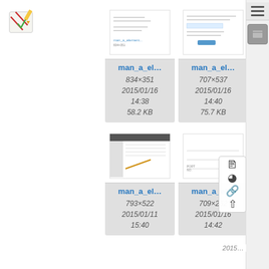[Figure (logo): DokuWiki logo - stylized book with pencil, red and green]
[Figure (screenshot): File card: man_a_el... thumbnail showing document preview, 834x351, 2015/01/16 14:38, 58.2 KB]
[Figure (screenshot): File card: man_a_el... thumbnail showing form preview, 707x537, 2015/01/16 14:40, 75.7 KB]
[Figure (screenshot): File card: man_... partial, 800+, 2015+]
[Figure (screenshot): File card: man_a_el... thumbnail showing table/interface, 793x522, 2015/01/11 15:40]
[Figure (screenshot): File card: man_a_el... thumbnail blank, 709x252, 2015/01/16 14:42]
[Figure (screenshot): File card: man_... partial, 729+, 2015+]
[Figure (infographic): Right panel with hamburger menu icon and action icons: document, history, link, upload]